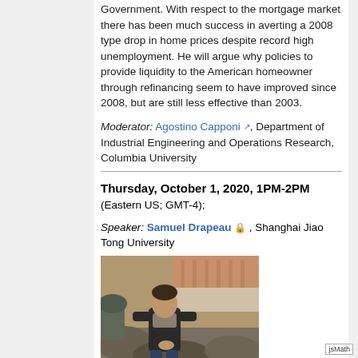Government. With respect to the mortgage market there has been much success in averting a 2008 type drop in home prices despite record high unemployment. He will argue why policies to provide liquidity to the American homeowner through refinancing seem to have improved since 2008, but are still less effective than 2003.
Moderator: Agostino Capponi, Department of Industrial Engineering and Operations Research, Columbia University
Thursday, October 1, 2020, 1PM-2PM (Eastern US; GMT-4);
Speaker: Samuel Drapeau, Shanghai Jiao Tong University
[Figure (photo): Photo of Samuel Drapeau, a man sitting outdoors near rocks and foliage]